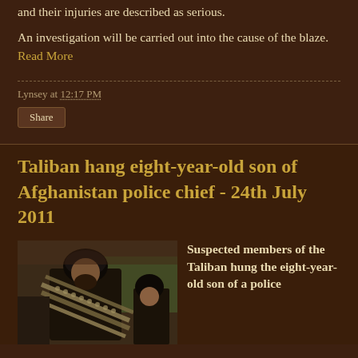and their injuries are described as serious.
An investigation will be carried out into the cause of the blaze. Read More
Lynsey at 12:17 PM
Share
Taliban hang eight-year-old son of Afghanistan police chief - 24th July 2011
[Figure (photo): A man wearing dark clothing and a black turban carrying ammunition belts, with other figures visible in the background]
Suspected members of the Taliban hung the eight-year-old son of a police